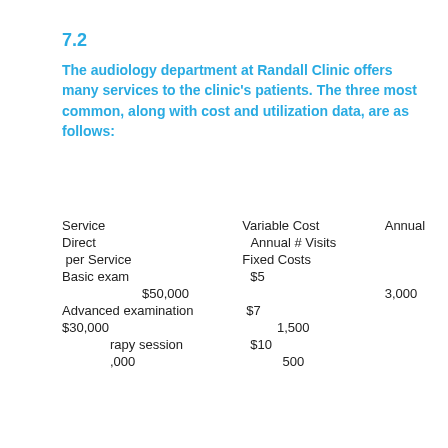7.2
The audiology department at Randall Clinic offers many services to the clinic’s patients. The three most common, along with cost and utilization data, are as follows:
| Service | Variable Cost per Service | Annual Direct Fixed Costs | Annual # Visits |
| --- | --- | --- | --- |
| Basic exam | $5 | $50,000 | 3,000 |
| Advanced examination | $7 | $30,000 | 1,500 |
| Therapy session | $10 | $20,000 | 500 |